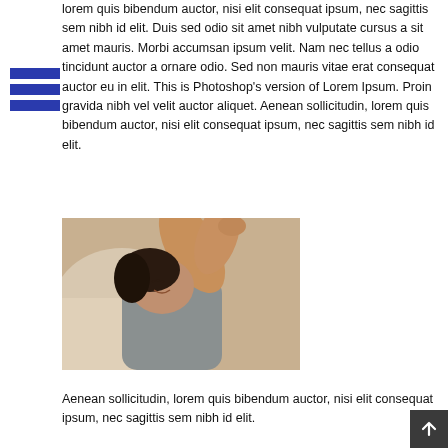lorem quis bibendum auctor, nisi elit consequat ipsum, nec sagittis sem nibh id elit. Duis sed odio sit amet nibh vulputate cursus a sit amet mauris. Morbi accumsan ipsum velit. Nam nec tellus a odio tincidunt auctor a ornare odio. Sed non mauris vitae erat consequat auctor eu in elit. This is Photoshop's version of Lorem Ipsum. Proin gravida nibh vel velit auctor aliquet. Aenean sollicitudin, lorem quis bibendum auctor, nisi elit consequat ipsum, nec sagittis sem nibh id elit.
[Figure (photo): A woman lying down smiling, wearing a gray tank top, resting with arm raised above her head]
Aenean sollicitudin, lorem quis bibendum auctor, nisi elit consequat ipsum, nec sagittis sem nibh id elit.